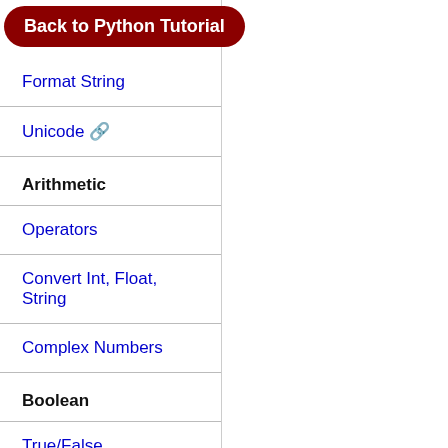Back to Python Tutorial
Format String
Unicode 🔗
Arithmetic
Operators
Convert Int, Float, String
Complex Numbers
Boolean
True/False
Condition...